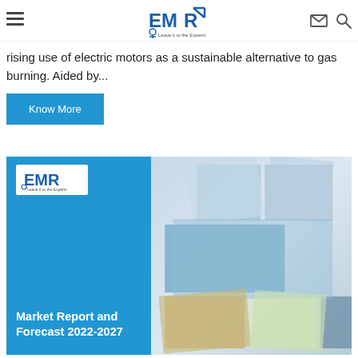EMR — Leave it to the Experts (navigation bar with menu, logo, mail, search icons)
rising use of electric motors as a sustainable alternative to gas burning. Aided by...
[Figure (other): Know More button — blue rectangular call-to-action button with white text]
[Figure (illustration): EMR Market Report and Forecast 2022-2027 promotional banner image. Left side has bright blue panel with EMR logo (white box) and bold white text 'Market Report and Forecast 2022-2027'. Right side shows a collage of industry photos including a microscope, food/spices, nature/flowers, and landscape images arranged in diamond/rhombus shapes on a light grey background.]